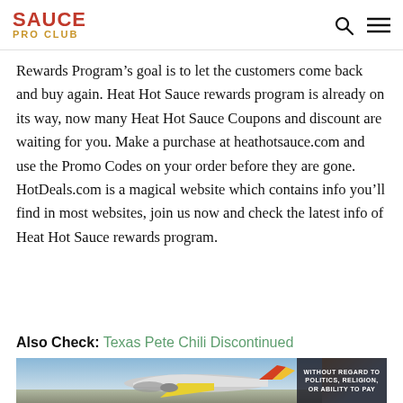SAUCE PRO CLUB
Rewards Program’s goal is to let the customers come back and buy again. Heat Hot Sauce rewards program is already on its way, now many Heat Hot Sauce Coupons and discount are waiting for you. Make a purchase at heathotsauce.com and use the Promo Codes on your order before they are gone. HotDeals.com is a magical website which contains info you’ll find in most websites, join us now and check the latest info of Heat Hot Sauce rewards program.
Also Check: Texas Pete Chili Discontinued
[Figure (photo): Airplane on tarmac being loaded with cargo, with an overlay banner reading WITHOUT REGARD TO (followed by smaller text)]